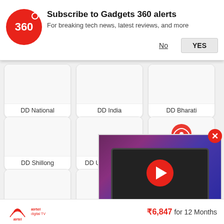[Figure (screenshot): Gadgets 360 subscription alert notification banner with red circular logo showing '360', title 'Subscribe to Gadgets 360 alerts', subtitle 'For breaking tech news, latest reviews, and more', and buttons 'No' and 'YES']
[Figure (screenshot): Grid of TV channel cards: DD National, DD India, DD Bharati, DD Shillong, DD Uttar Pradesh (with DD News logo), Lok Sabha TV, Rajya Sabha TV, DD Rajasthan, with a video player overlay showing a TV with galaxy wallpaper and a red play button, plus a close (X) button]
[Figure (screenshot): Bottom bar with Airtel Digital TV logo and price ₹6,847 for 12 Months]